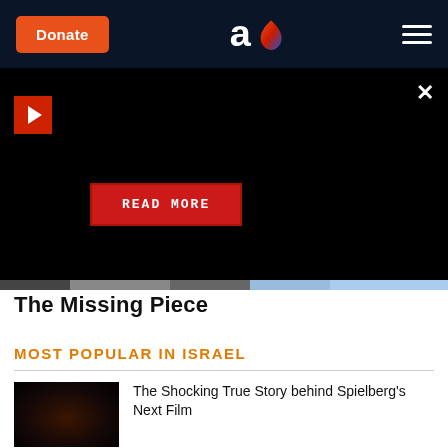Donate | Aish logo | hamburger menu
[Figure (screenshot): Dark video player area with play button icon (red square with white arrow), close X button, and red READ MORE button in center]
The Missing Piece
MOST POPULAR IN ISRAEL
[Figure (photo): Dark portrait photo of a person, dimly lit, associated with article about Spielberg film]
The Shocking True Story behind Spielberg's Next Film